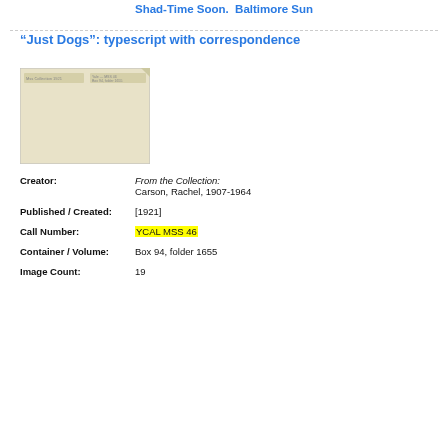Shad-Time Soon. Baltimore Sun
“Just Dogs”: typescript with correspondence
[Figure (photo): Thumbnail image of a folder or document envelope, light tan/cream colored, with small text labels visible at the top left and top right corners.]
Creator: From the Collection: Carson, Rachel, 1907-1964
Published / Created: [1921]
Call Number: YCAL MSS 46
Container / Volume: Box 94, folder 1655
Image Count: 19